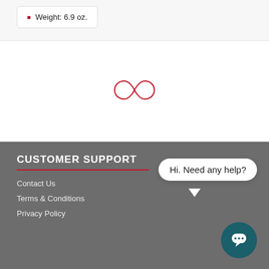Weight: 6.9 oz.
[Figure (illustration): Red infinity symbol/loop loading spinner icon centered on white background]
CUSTOMER SUPPORT
Contact Us
Terms & Conditions
Privacy Policy
[Figure (screenshot): Chat widget with speech bubble saying 'Hi. Need any help?' and a teal circular chat button]